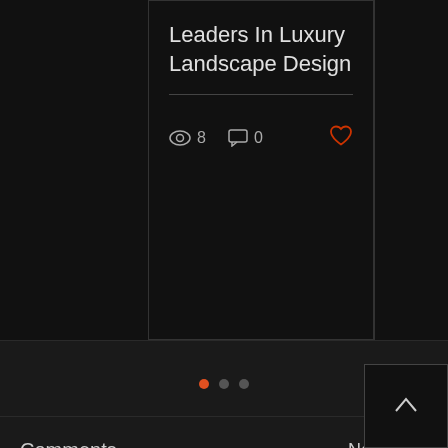Leaders In Luxury Landscape Design
8 views  0 comments  like
[Figure (infographic): Pagination indicator dots: one orange/active dot followed by two grey/inactive dots]
Comments   Newest ∨
Loading...